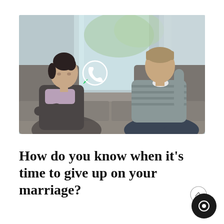[Figure (photo): A couple sitting apart on a gray sofa, not looking at each other. The woman on the left has dark hair pulled back and wears a gray jacket and lavender top, resting her chin on her hand looking sullen. The man on the right wears a gray striped sweater and jeans, leaning his elbow on the sofa arm and resting his forehead on his hand looking stressed. A WhatsApp logo (green circle with white phone handset) is overlaid in the center-left of the image.]
How do you know when it's time to give up on your marriage?